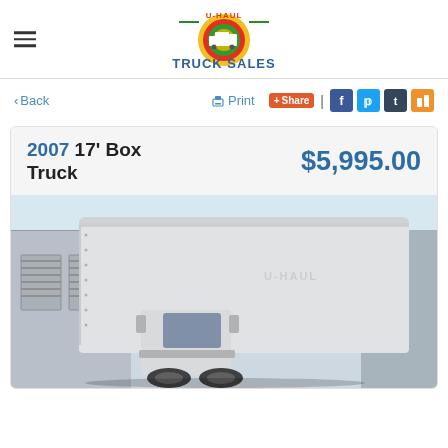[Figure (logo): U-Haul Truck Sales logo with circular rainbow emblem and text 'U-HAUL TRUCK SALES']
< Back   Print   + Share | f t t [rss]
2007 17' Box Truck   $5,995.00
[Figure (photo): Photo of a white 2007 U-Haul 17-foot box truck parked in front of a warehouse/storage facility with garage doors visible in the background.]